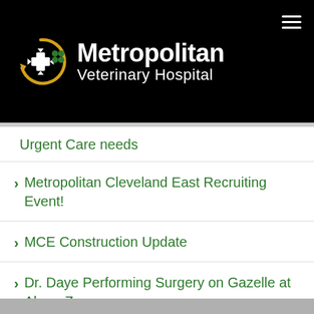[Figure (logo): Metropolitan Veterinary Hospital logo with circular arrow, cross/compass icon, and green dots on black background]
Urgent Care needs
Metropolitan Cleveland East Recruiting Event!
MCE Construction Update
Dr. Daye Performing Surgery on Gazelle at Akron Zoo